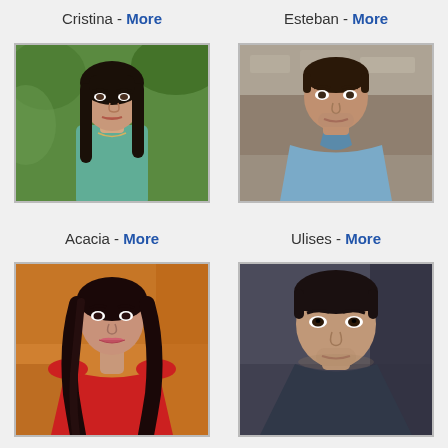Cristina - More
[Figure (photo): Photo of Cristina, a young woman with long dark hair wearing a teal top, outdoors with green foliage background]
Esteban - More
[Figure (photo): Photo of Esteban, a man in a light blue shirt, outdoors with stone wall background]
Acacia - More
[Figure (photo): Photo of Acacia, a young woman with long dark wavy hair wearing a red top, indoors with warm background]
Ulises - More
[Figure (photo): Photo of Ulises, a young man with dark hair, close-up portrait with dark background]